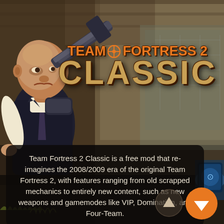[Figure (screenshot): Team Fortress 2 Classic promotional image showing a Heavy character with minigun, stylized game background, game logo text, description box, and navigation arrow buttons]
TEAM FORTRESS 2 CLASSIC
Team Fortress 2 Classic is a free mod that re-imagines the 2008/2009 era of the original Team Fortress 2, with features ranging from old scrapped mechanics to entirely new content, such as new weapons and gamemodes like VIP, Domination, and Four-Team.